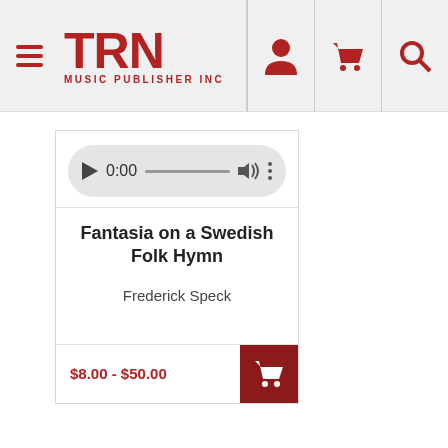TRN Music Publisher Inc
[Figure (screenshot): Audio player control with play button showing 0:00, progress bar, volume icon, and options dots]
Fantasia on a Swedish Folk Hymn
Frederick Speck
$8.00 - $50.00